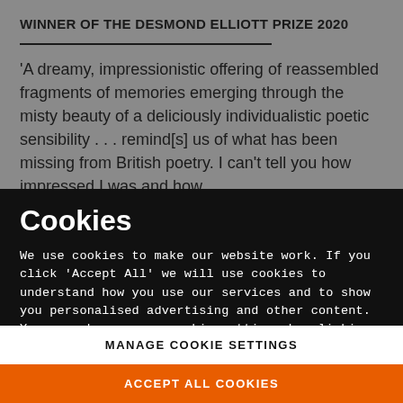WINNER OF THE DESMOND ELLIOTT PRIZE 2020
'A dreamy, impressionistic offering of reassembled fragments of memories emerging through the misty beauty of a deliciously individualistic poetic sensibility . . . remind[s] us of what has been missing from British poetry. I can't tell you how impressed I was and how...
Cookies
We use cookies to make our website work. If you click 'Accept All' we will use cookies to understand how you use our services and to show you personalised advertising and other content. You can change your cookie settings by clicking 'Manage Cookies'. For more information please see our cookie policy
MANAGE COOKIE SETTINGS
ACCEPT ALL COOKIES